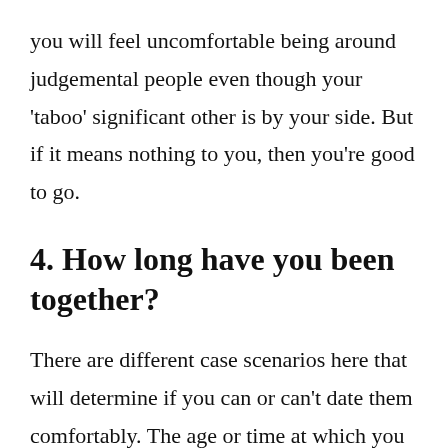you will feel uncomfortable being around judgemental people even though your 'taboo' significant other is by your side. But if it means nothing to you, then you're good to go.
4. How long have you been together?
There are different case scenarios here that will determine if you can or can't date them comfortably. The age or time at which you met can affect your choice and can help give you